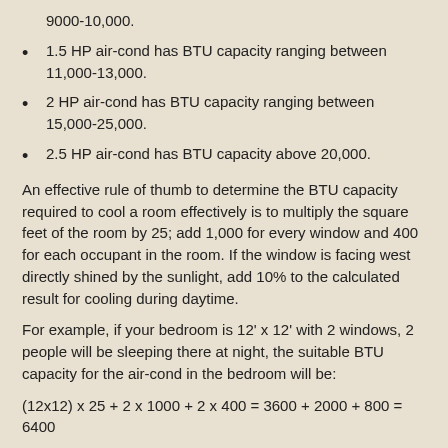1.5 HP air-cond has BTU capacity ranging between 11,000-13,000.
2 HP air-cond has BTU capacity ranging between 15,000-25,000.
2.5 HP air-cond has BTU capacity above 20,000.
An effective rule of thumb to determine the BTU capacity required to cool a room effectively is to multiply the square feet of the room by 25; add 1,000 for every window and 400 for each occupant in the room. If the window is facing west directly shined by the sunlight, add 10% to the calculated result for cooling during daytime.
For example, if your bedroom is 12' x 12' with 2 windows, 2 people will be sleeping there at night, the suitable BTU capacity for the air-cond in the bedroom will be:
Therefore, a 1 HP air-cond should be enough for this